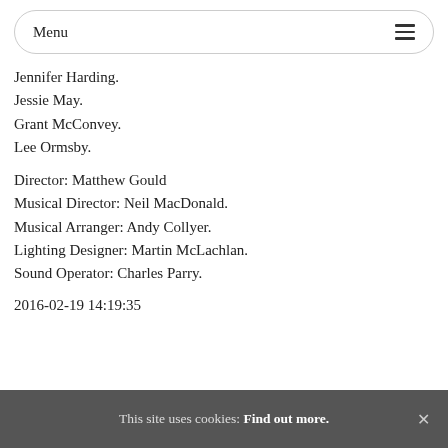Menu
Jennifer Harding.
Jessie May.
Grant McConvey.
Lee Ormsby.
Director: Matthew Gould
Musical Director: Neil MacDonald.
Musical Arranger: Andy Collyer.
Lighting Designer: Martin McLachlan.
Sound Operator: Charles Parry.
2016-02-19 14:19:35
This site uses cookies: Find out more.